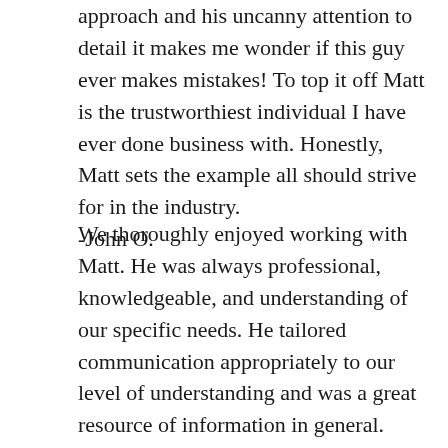approach and his uncanny attention to detail it makes me wonder if this guy ever makes mistakes! To top it off Matt is the trustworthiest individual I have ever done business with. Honestly, Matt sets the example all should strive for in the industry.
-John O.
We thoroughly enjoyed working with Matt. He was always professional, knowledgeable, and understanding of our specific needs. He tailored communication appropriately to our level of understanding and was a great resource of information in general. Even though he was a distance away from us, we easily communicated through email and phone, using electronic documents. We appreciated this for both economic and environmental reasons. Thanks!!
-Laurie S.